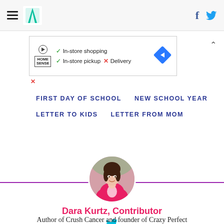HuffPost navigation with hamburger menu, logo, Facebook and Twitter icons
[Figure (other): HomeSense advertisement banner showing In-store shopping (check), In-store pickup (check), Delivery (X), and a blue directional arrow diamond icon]
FIRST DAY OF SCHOOL   NEW SCHOOL YEAR
LETTER TO KIDS   LETTER FROM MOM
[Figure (photo): Circular author photo of Dara Kurtz, a woman with dark hair wearing a pink blazer]
Dara Kurtz, Contributor
[Figure (other): Twitter bird icon in cyan/teal color]
Author of Crush Cancer and founder of Crazy Perfect